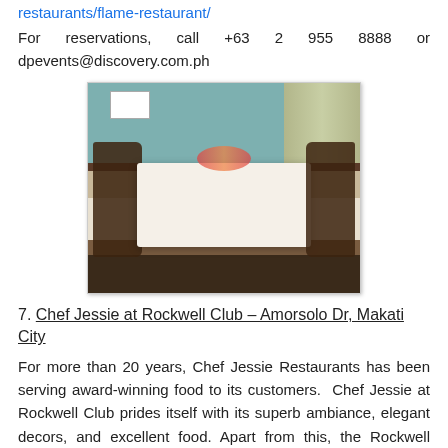restaurants/flame-restaurant/
For reservations, call +63 2 955 8888 or dpevents@discovery.com.ph
[Figure (photo): Interior dining room with a long white-clothed table set for a formal event, surrounded by dark wooden chairs on a striped carpet floor, with teal walls and curtained windows in the background.]
7. Chef Jessie at Rockwell Club – Amorsolo Dr, Makati City
For more than 20 years, Chef Jessie Restaurants has been serving award-winning food to its customers. Chef Jessie at Rockwell Club prides itself with its superb ambiance, elegant decors, and excellent food. Apart from this, the Rockwell Club provides a Private Dining Room that can accommodate up to 50 people for sit-down events, and 80 people for